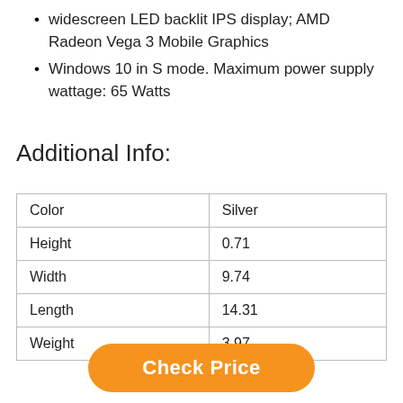widescreen LED backlit IPS display; AMD Radeon Vega 3 Mobile Graphics
Windows 10 in S mode. Maximum power supply wattage: 65 Watts
Additional Info:
| Color | Silver |
| Height | 0.71 |
| Width | 9.74 |
| Length | 14.31 |
| Weight | 3.97 |
Check Price